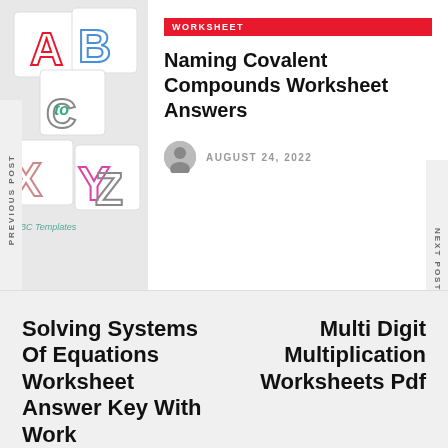[Figure (photo): Colorful ABC and XYZ letter cards arranged in a collage, with 'ABC Templates' text visible]
WORKSHEET
Naming Covalent Compounds Worksheet Answers
AUGUST 24, 2022
PREVIOUS POST
NEXT POST
Solving Systems Of Equations Worksheet Answer Key With Work
Multi Digit Multiplication Worksheets Pdf